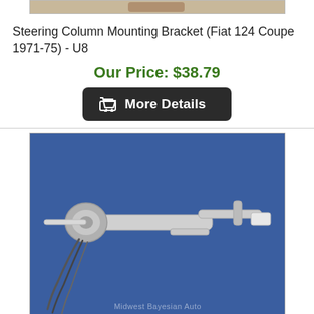[Figure (photo): Partial view of a Steering Column Mounting Bracket product image (cropped, top portion visible)]
Steering Column Mounting Bracket (Fiat 124 Coupe 1971-75) - U8
Our Price: $38.79
More Details
[Figure (photo): Photo of a Steering Column Switch Assembly for Fiat 124 Coupe 1967-69, showing a chrome and silver assembly with wires and levers on a blue background. Watermark reads Midwest Bayesian Auto.]
Steering Column Switch Assembly (Fiat 124 Coupe 1967-69) - OE
Our Price: $189.79